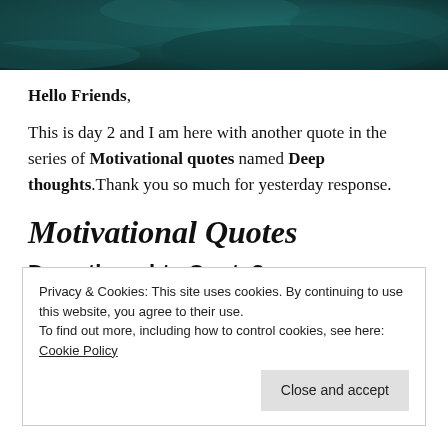[Figure (photo): Dark teal/green aerial or abstract textured image used as a hero banner at the top of the page]
Hello Friends,
This is day 2 and I am here with another quote in the series of Motivational quotes named Deep thoughts.Thank you so much for yesterday response.
Motivational Quotes
Deep thoughts Quote2
Privacy & Cookies: This site uses cookies. By continuing to use this website, you agree to their use.
To find out more, including how to control cookies, see here: Cookie Policy
Close and accept